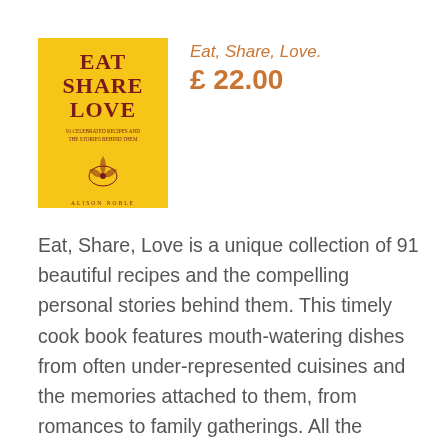[Figure (photo): Book cover of 'Eat, Share, Love' — yellow background with dark red title text and floral illustration, author name at bottom]
Eat, Share, Love.
£ 22.00
Eat, Share, Love is a unique collection of 91 beautiful recipes and the compelling personal stories behind them. This timely cook book features mouth-watering dishes from often under-represented cuisines and the memories attached to them, from romances to family gatherings. All the proceeds from this book will go to the award-winning charity 91 Ways to Build